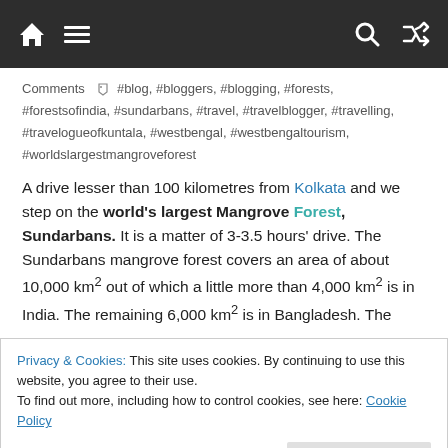Navigation bar with home, menu, search, and shuffle icons
Comments  #blog, #bloggers, #blogging, #forests, #forestsofindia, #sundarbans, #travel, #travelblogger, #travelling, #travelogueofkuntala, #westbengal, #westbengaltourism, #worldslargestmangroveforest
A drive lesser than 100 kilometres from Kolkata and we step on the world's largest Mangrove Forest, Sundarbans. It is a matter of 3-3.5 hours' drive. The Sundarbans mangrove forest covers an area of about 10,000 km² out of which a little more than 4,000 km² is in India. The remaining 6,000 km² is in Bangladesh. The
Privacy & Cookies: This site uses cookies. By continuing to use this website, you agree to their use.
To find out more, including how to control cookies, see here: Cookie Policy
Sundarbans East Wildlife Sanctuaries.